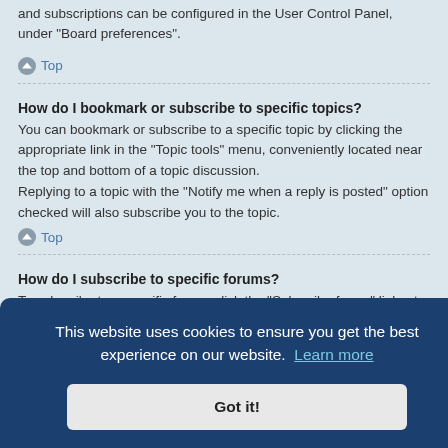and subscriptions can be configured in the User Control Panel, under “Board preferences”.
Top
How do I bookmark or subscribe to specific topics?
You can bookmark or subscribe to a specific topic by clicking the appropriate link in the “Topic tools” menu, conveniently located near the top and bottom of a topic discussion.
Replying to a topic with the “Notify me when a reply is posted” option checked will also subscribe you to the topic.
Top
How do I subscribe to specific forums?
To subscribe to a specific forum, click the “Subscribe forum” link, at the bottom
w the links
This website uses cookies to ensure you get the best experience on our website.  Learn more
Got it!